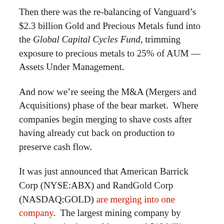Then there was the re-balancing of Vanguard's $2.3 billion Gold and Precious Metals fund into the Global Capital Cycles Fund, trimming exposure to precious metals to 25% of AUM — Assets Under Management.
And now we're seeing the M&A (Mergers and Acquisitions) phase of the bear market. Where companies begin merging to shave costs after having already cut back on production to preserve cash flow.
It was just announced that American Barrick Corp (NYSE:ABX) and RandGold Corp (NASDAQ:GOLD) are merging into one company. The largest mining company by market cap in the world at around $18 billion.